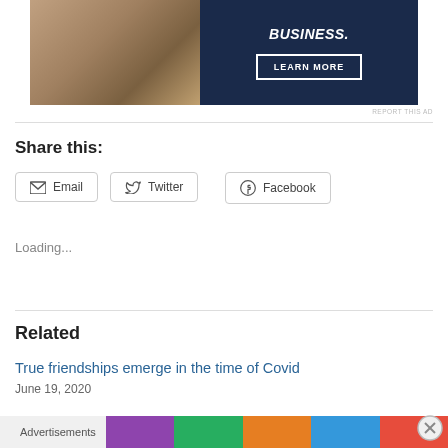[Figure (photo): Advertisement banner with dark navy background showing a woman's hands and text 'BUSINESS.' with a 'LEARN MORE' button]
REPORT THIS AD
Share this:
Email
Twitter
Facebook
Loading...
Related
True friendships emerge in the time of Covid
June 19, 2020
Advertisements